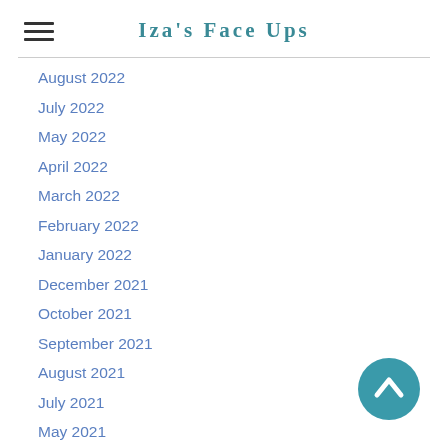Iza's Face Ups
August 2022
July 2022
May 2022
April 2022
March 2022
February 2022
January 2022
December 2021
October 2021
September 2021
August 2021
July 2021
May 2021
April 2021
March 2021
February 2021
December 2020
[Figure (illustration): Teal circular scroll-to-top button with upward chevron arrow icon]